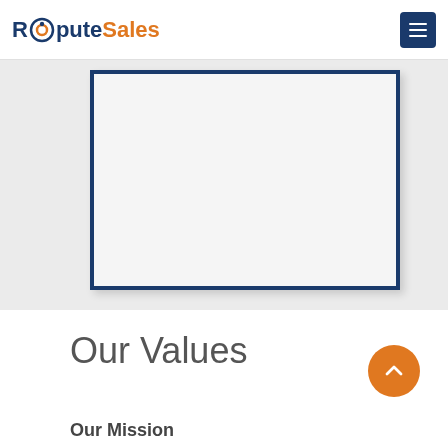RoputeSales
[Figure (other): A framed rectangular box with dark blue border on a light gray background, representing a video or image placeholder.]
Our Values
Our Mission